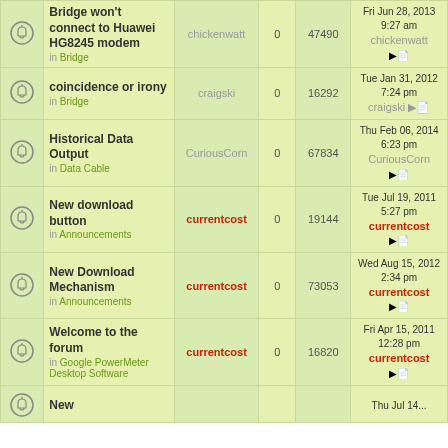|  | Topic | Author | Replies | Views | Last Post |
| --- | --- | --- | --- | --- | --- |
| [icon] | Bridge won't connect to Huawei HG8245 modem
in Bridge | chickenwatt | 0 | 47490 | Fri Jun 28, 2013 9:27 am
chickenwatt |
| [icon] | coincidence or irony
in Bridge | craigski | 0 | 16292 | Tue Jan 31, 2012 7:24 pm
craigski |
| [icon] | Historical Data Output
in Data Cable | CuriousCorn | 0 | 67834 | Thu Feb 06, 2014 6:23 pm
CuriousCorn |
| [icon] | New download button
in Announcements | currentcost | 0 | 19144 | Tue Jul 19, 2011 5:27 pm
currentcost |
| [icon] | New Download Mechanism
in Announcements | currentcost | 0 | 73053 | Wed Aug 15, 2012 2:34 pm
currentcost |
| [icon] | Welcome to the forum
in Google PowerMeter Desktop Software | currentcost | 0 | 16820 | Fri Apr 15, 2011 12:28 pm
currentcost |
| [icon] | New |  |  |  | Thu Jul 14... |